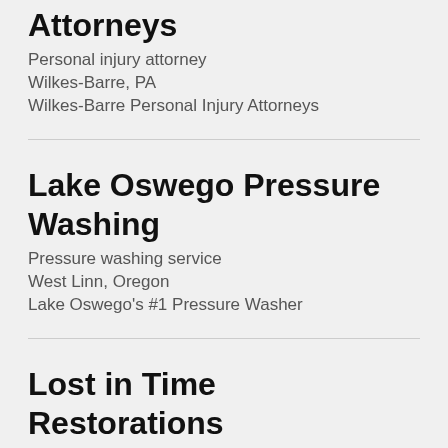Attorneys
Personal injury attorney
Wilkes-Barre, PA
Wilkes-Barre Personal Injury Attorneys
Lake Oswego Pressure Washing
Pressure washing service
West Linn, Oregon
Lake Oswego's #1 Pressure Washer
Lost in Time Restorations
Auto restoration service